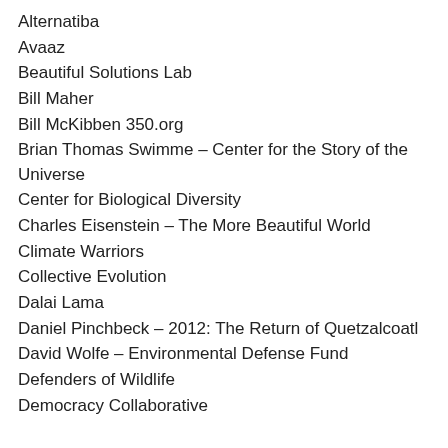Alternatiba
Avaaz
Beautiful Solutions Lab
Bill Maher
Bill McKibben 350.org
Brian Thomas Swimme – Center for the Story of the Universe
Center for Biological Diversity
Charles Eisenstein – The More Beautiful World
Climate Warriors
Collective Evolution
Dalai Lama
Daniel Pinchbeck – 2012: The Return of Quetzalcoatl
David Wolfe – Environmental Defense Fund
Defenders of Wildlife
Democracy Collaborative